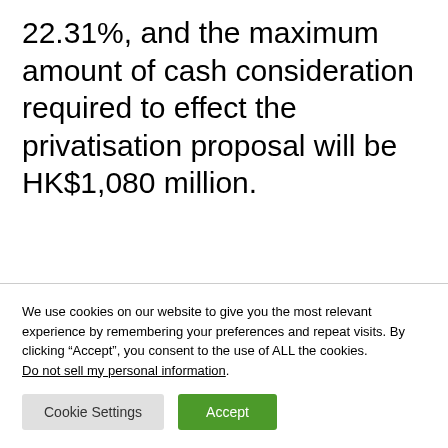22.31%, and the maximum amount of cash consideration required to effect the privatisation proposal will be HK$1,080 million.
We use cookies on our website to give you the most relevant experience by remembering your preferences and repeat visits. By clicking “Accept”, you consent to the use of ALL the cookies.
Do not sell my personal information.